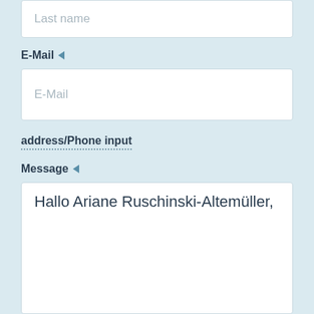Last name
E-Mail ◄
E-Mail
address/Phone input
Message ◄
Hallo Ariane Ruschinski-Altemüller,